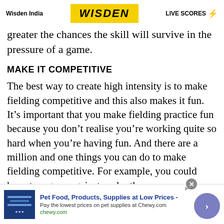Wisden India | WISDEN | LIVE SCORES
greater the chances the skill will survive in the pressure of a game.
MAKE IT COMPETITIVE
The best way to create high intensity is to make fielding competitive and this also makes it fun. It’s important that you make fielding practice fun because you don’t realise you’re working quite so hard when you’re having fun. And there are a million and one things you can do to make fielding competitive. For example, you could have two guys against each other:
[Figure (screenshot): Advertisement banner for Chewy.com: Pet Food, Products, Supplies at Low Prices]